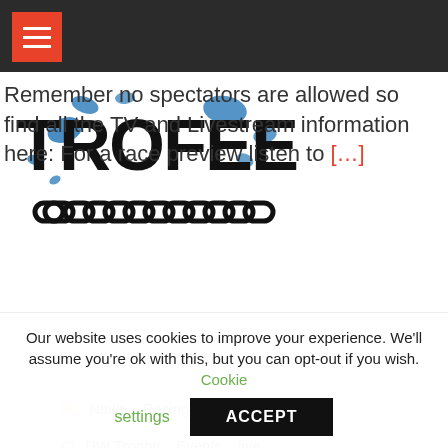Navigation bar with hamburger menu
[Figure (logo): TROFEE cycling event logo with chain graphic and blue splatter text]
Remember no spectators are allowed so find all the TV and Livestream information here: For a race preview listen to [...]
News, Racing, Videos
DW Trophy, Events, live
Our website uses cookies to improve your experience. We'll assume you're ok with this, but you can opt-out if you wish. Cookie settings ACCEPT